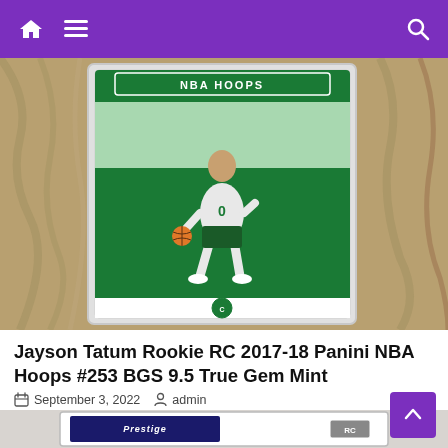Navigation bar with home, menu, and search icons
[Figure (photo): Jayson Tatum NBA Hoops Rookie RC 2017-18 Panini trading card in a protective case, displayed against a wood grain background. The card shows a green border with 'NBA HOOPS' at top, RC badge, and player in Celtics uniform #0 dribbling.]
Jayson Tatum Rookie RC 2017-18 Panini NBA Hoops #253 BGS 9.5 True Gem Mint
September 3, 2022   admin
[Figure (photo): Partial view of another graded trading card in protective case, showing the bottom portion with Panini Prestige branding and RC badge.]